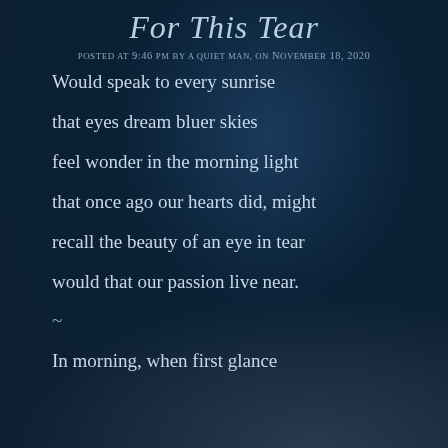For This Tear
Posted at 9:46 pm by a quiet man, on November 18, 2020
Would speak to every sunrise

that eyes dream bluer skies

feel wonder in the morning light

that once ago our hearts did, might

recall the beauty of an eye in tear

would that our passion live near.

~

In morning, when first glance